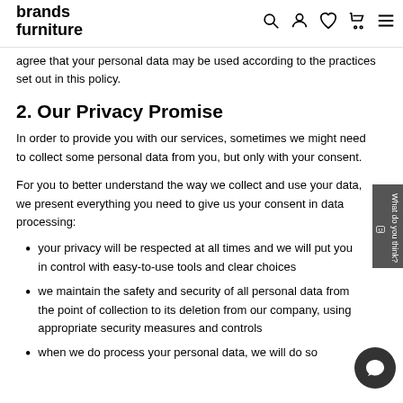brands furniture
agree that your personal data may be used according to the practices set out in this policy.
2. Our Privacy Promise
In order to provide you with our services, sometimes we might need to collect some personal data from you, but only with your consent.
For you to better understand the way we collect and use your data, we present everything you need to give us your consent in data processing:
your privacy will be respected at all times and we will put you in control with easy-to-use tools and clear choices
we maintain the safety and security of all personal data from the point of collection to its deletion from our company, using appropriate security measures and controls
when we do process your personal data, we will do so